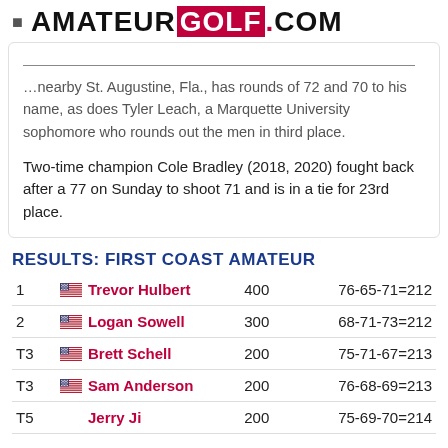AMATEUR GOLF.COM
...nearby St. Augustine, Fla., has rounds of 72 and 70 to his name, as does Tyler Leach, a Marquette University sophomore who rounds out the men in third place.

Two-time champion Cole Bradley (2018, 2020) fought back after a 77 on Sunday to shoot 71 and is in a tie for 23rd place.
RESULTS: FIRST COAST AMATEUR
| Pos | Player | Points | Score |
| --- | --- | --- | --- |
| 1 | Trevor Hulbert | 400 | 76-65-71=212 |
| 2 | Logan Sowell | 300 | 68-71-73=212 |
| T3 | Brett Schell | 200 | 75-71-67=213 |
| T3 | Sam Anderson | 200 | 76-68-69=213 |
| T5 | Jerry Ji | 200 | 75-69-70=214 |